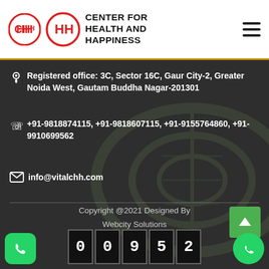CENTER FOR HEALTH AND HAPPINESS
Registered office: 3C, Sector 16C, Gaur City-2, Greater Noida West, Gautam Buddha Nagar-201301
+91-9818874115, +91-9818607115, +91-9155764860, +91-9910699562
info@vitalchh.com
Copyright @2021 Designed By Webcity Solutions